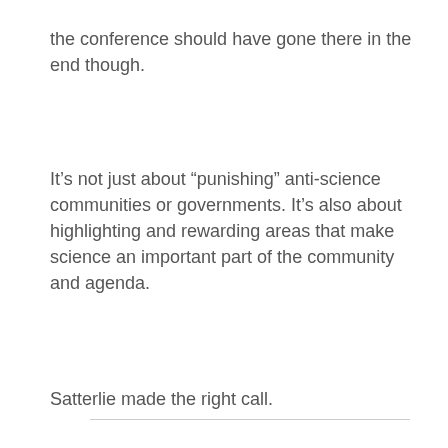the conference should have gone there in the end though.
It’s not just about “punishing” anti-science communities or governments. It’s also about highlighting and rewarding areas that make science an important part of the community and agenda.
Satterlie made the right call.